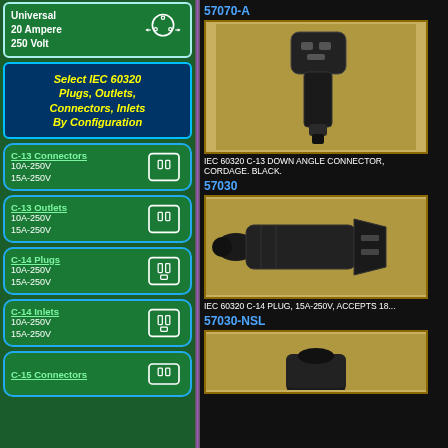[Figure (illustration): Universal 20 Ampere 250 Volt outlet icon in left navigation panel]
[Figure (infographic): Select IEC 60320 Plugs, Outlets, Connectors, Inlets By Configuration navigation menu]
C-13 Connectors 10A-250V 15A-250V
C-13 Outlets 10A-250V 15A-250V
C-14 Plugs 10A-250V 15A-250V
C-14 Inlets 10A-250V 15A-250V
C-15 Connectors
57070-A
[Figure (photo): IEC 60320 C-13 down angle connector, black, photo on tan/gold background]
IEC 60320 C-13 DOWN ANGLE CONNECTOR, CORDAGE. BLACK.
57030
[Figure (photo): IEC 60320 C-14 plug, 15A-250V, black, photo on tan/gold background]
IEC 60320 C-14 PLUG, 15A-250V, ACCEPTS 18...
57030-NSL
[Figure (photo): Partial photo of another IEC connector on tan/gold background]